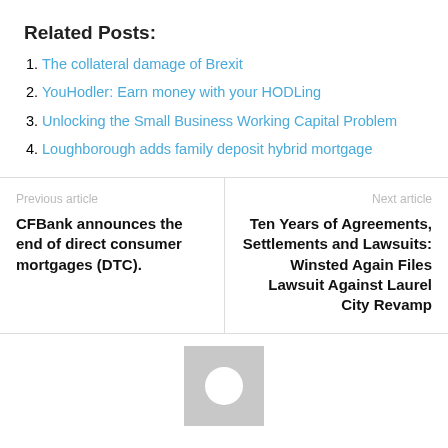Related Posts:
The collateral damage of Brexit
YouHodler: Earn money with your HODLing
Unlocking the Small Business Working Capital Problem
Loughborough adds family deposit hybrid mortgage
Previous article
CFBank announces the end of direct consumer mortgages (DTC).
Next article
Ten Years of Agreements, Settlements and Lawsuits: Winsted Again Files Lawsuit Against Laurel City Revamp
[Figure (illustration): Avatar placeholder image - grey square with white circle]